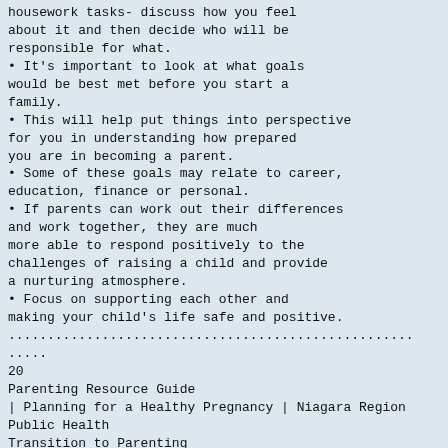housework tasks- discuss how you feel about it and then decide who will be responsible for what.
• It's important to look at what goals would be best met before you start a family.
• This will help put things into perspective for you in understanding how prepared you are in becoming a parent.
• Some of these goals may relate to career, education, finance or personal.
• If parents can work out their differences and work together, they are much more able to respond positively to the challenges of raising a child and provide a nurturing atmosphere.
• Focus on supporting each other and making your child's life safe and positive.
....................................................
.....
20
Parenting Resource Guide
| Planning for a Healthy Pregnancy | Niagara Region Public Health
Transition to Parenting
....................................................
7. Are you ready to make adjustments to your daily lifestyle (e.g., hobbies, free time) once you become a father?
9. How do you feel about having limited time with your partner once you do have a baby?
□
Parenting tips difficult transitions: